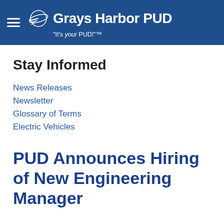Grays Harbor PUD — "It's your PUD!"™
Stay Informed
News Releases
Newsletter
Glossary of Terms
Electric Vehicles
PUD Announces Hiring of New Engineering Manager